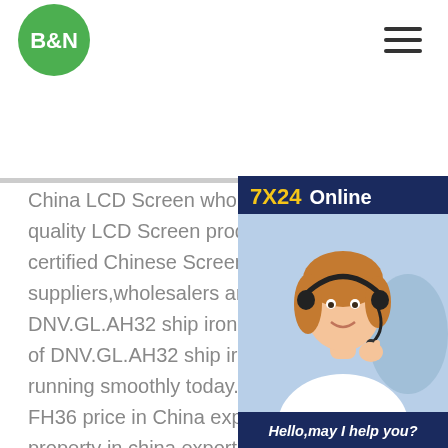B&N (logo) + hamburger menu
[Figure (infographic): 7X24 Online customer service widget with photo of woman wearing headset, 'Hello, may I help you?' text and 'Get Latest Price' button]
China LCD Screen wholesale - Select quality LCD Screen products in best pr certified Chinese Screen manufacturer suppliers,wholesalers and factory on . DNV.GL.AH32 ship iron sheet prices o price of DNV.GL.AH32 ship iron sheet market is running smoothly today.The p DNV DNV FH36 price in China exportg mechanical property in china export - Nautic L DNV FH36 price in China exportInternational Journal of (plate) Cited by 1Publish Year 2020Author Yuan Ma, Yang Gao, Li Liu, Xiuyan Ren, Guanghui GaoUNS S32906 super duplex stainless steel seamless gl fh4